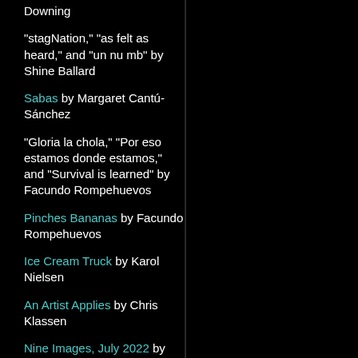Downing
"stagNation," "as felt as heard," and "un nu mb" by Shine Ballard
Sabas by Margaret Cantú-Sánchez
"Gloria la chola," "Por eso estamos donde estamos," and "Survival is learned" by Facundo Rompehuevos
Pinches Bananas by Facundo Rompehuevos
Ice Cream Truck by Karol Nielsen
An Artist Applies by Chris Klassen
Nine Images, July 2022 by Heather Weathers
for Jacqui Disler by Su Zi
Unfamiliar Ground by Peter Cherches